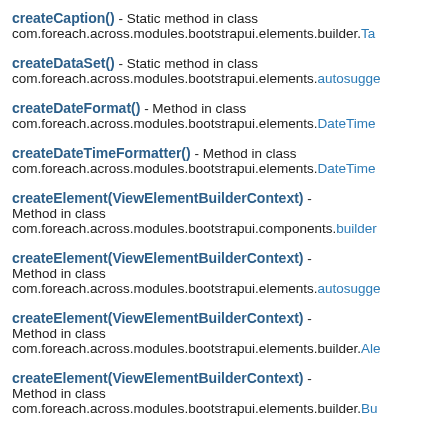createCaption() - Static method in class com.foreach.across.modules.bootstrapui.elements.builder.Ta
createDataSet() - Static method in class com.foreach.across.modules.bootstrapui.elements.autosugge
createDateFormat() - Method in class com.foreach.across.modules.bootstrapui.elements.DateTime
createDateTimeFormatter() - Method in class com.foreach.across.modules.bootstrapui.elements.DateTime
createElement(ViewElementBuilderContext) - Method in class com.foreach.across.modules.bootstrapui.components.builder
createElement(ViewElementBuilderContext) - Method in class com.foreach.across.modules.bootstrapui.elements.autosugge
createElement(ViewElementBuilderContext) - Method in class com.foreach.across.modules.bootstrapui.elements.builder.Ale
createElement(ViewElementBuilderContext) - Method in class com.foreach.across.modules.bootstrapui.elements.builder.Bu